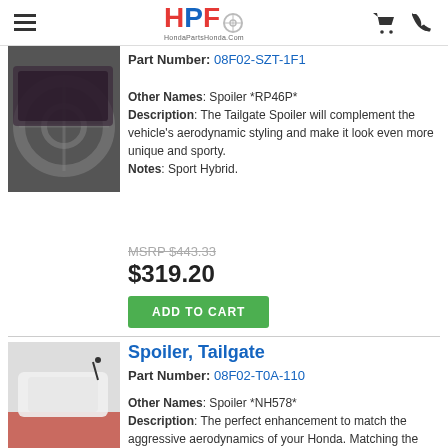HPF - HondaPartsHonda.com
Part Number: 08F02-SZT-1F1
Other Names: Spoiler *RP46P* Description: The Tailgate Spoiler will complement the vehicle's aerodynamic styling and make it look even more unique and sporty. Notes: Sport Hybrid.
MSRP $443.33
$319.20
ADD TO CART
Spoiler, Tailgate
Part Number: 08F02-T0A-110
Other Names: Spoiler *NH578* Description: The perfect enhancement to match the aggressive aerodynamics of your Honda. Matching the original factory